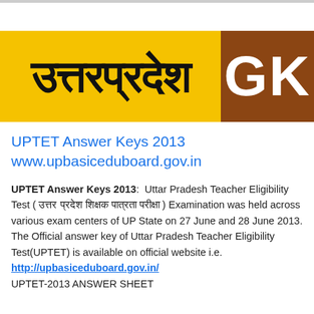[Figure (logo): Uttar Pradesh GK logo banner with Hindi text 'उत्तरप्रदेश' on yellow background and 'GK' on brown background]
UPTET Answer Keys 2013
www.upbasiceduboard.gov.in
UPTET Answer Keys 2013: Uttar Pradesh Teacher Eligibility Test ( उत्तर प्रदेश शिक्षक पात्रता परीक्षा ) Examination was held across various exam centers of UP State on 27 June and 28 June 2013.
The Official answer key of Uttar Pradesh Teacher Eligibility Test(UPTET) is available on official website i.e.
http://upbasiceduboard.gov.in/
UPTET-2013 ANSWER SHEET